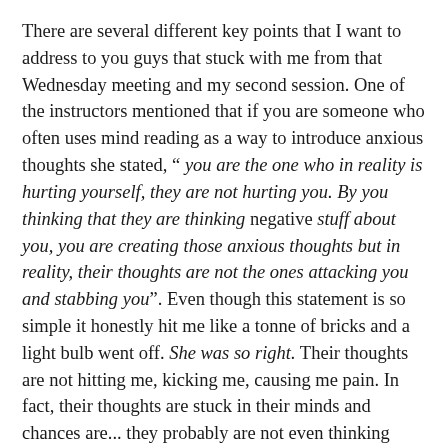There are several different key points that I want to address to you guys that stuck with me from that Wednesday meeting and my second session. One of the instructors mentioned that if you are someone who often uses mind reading as a way to introduce anxious thoughts she stated, “ you are the one who in reality is hurting yourself, they are not hurting you. By you thinking that they are thinking negative stuff about you, you are creating those anxious thoughts but in reality, their thoughts are not the ones attacking you and stabbing you”. Even though this statement is so simple it honestly hit me like a tonne of bricks and a light bulb went off. She was so right. Their thoughts are not hitting me, kicking me, causing me pain. In fact, their thoughts are stuck in their minds and chances are... they probably are not even thinking what you think they are thinking about. Another statement that was made within the meeting that stuck with me was seeing things from the other person. People who have anxiety often do not think the way that...